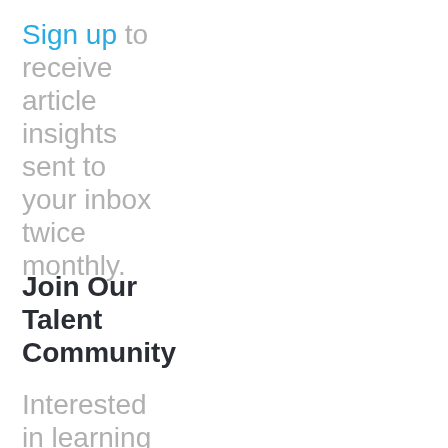Sign up to receive article insights sent to your inbox twice monthly.
Join Our Talent Community
Interested in learning about upcoming